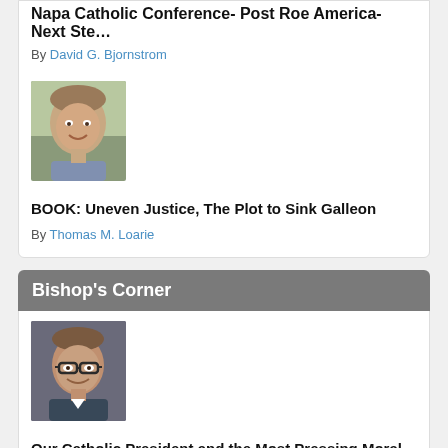Napa Catholic Conference- Post Roe America- Next Ste…
By David G. Bjornstrom
[Figure (photo): Headshot of an older smiling man outdoors]
BOOK: Uneven Justice, The Plot to Sink Galleon
By Thomas M. Loarie
Bishop's Corner
[Figure (photo): Headshot of a man with glasses smiling indoors]
Our Catholic President and the Most Pressing Moral Is…
On numerous occasions throughout his public career, President Biden asserted...